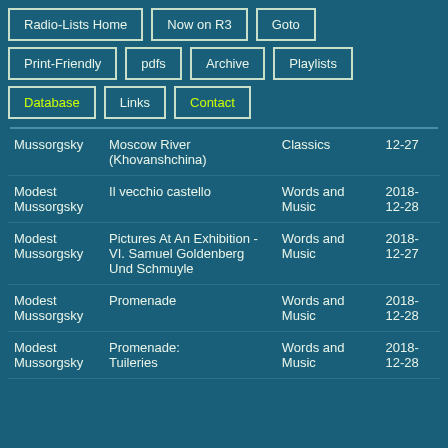Radio-Lists Home
Now on R3
Goto
Print-Friendly
pdfs
Archive
Playlists
Database
Links
Contact
| Composer | Work | Show | Date |
| --- | --- | --- | --- |
| Mussorgsky | Moscow River (Khovanshchina) | Classics | 12-27 |
| Modest Mussorgsky | Il vecchio castello | Words and Music | 2018-12-28 |
| Modest Mussorgsky | Pictures At An Exhibition - VI. Samuel Goldenberg Und Schmuyle | Words and Music | 2018-12-27 |
| Modest Mussorgsky | Promenade | Words and Music | 2018-12-28 |
| Modest Mussorgsky | Promenade: Tuileries | Words and Music | 2018-12-28 |